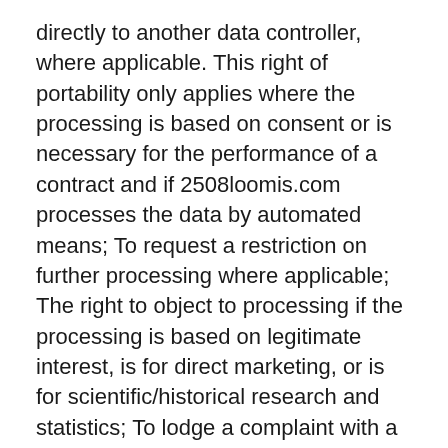directly to another data controller, where applicable. This right of portability only applies where the processing is based on consent or is necessary for the performance of a contract and if 2508loomis.com processes the data by automated means; To request a restriction on further processing where applicable; The right to object to processing if the processing is based on legitimate interest, is for direct marketing, or is for scientific/historical research and statistics; To lodge a complaint with a supervisory authority. You may exercise these rights by contacting 2508loomis.com at contact@2508loomis.com, providing the email address you used to register with 2508loomis.com, and stating your specific request in writing. 2508loomis.com reserves the right to verify your identity and confirm your right to the information. The following options are also available:
To withdraw consent for collection of precise device location, you may access the privacy settings of your